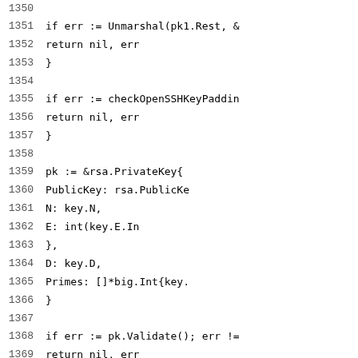Code listing lines 1350-1371 showing Go source code for RSA key parsing including Unmarshal, checkOpenSSHKeyPadding, and rsa.PrivateKey construction with Validate call